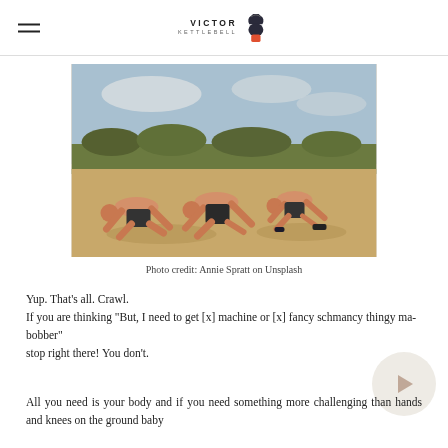Victor Kettlebell
[Figure (photo): Two shirtless men in black shorts performing bear crawl exercise on sandy ground outdoors, photographed in sequence showing movement]
Photo credit: Annie Spratt on Unsplash
Yup. That's all. Crawl.
If you are thinking "But, I need to get [x] machine or [x] fancy schmancy thingy ma-bobber"
stop right there! You don't.
All you need is your body and if you need something more challenging than hands and knees on the ground baby crawl, there's always the grownup...